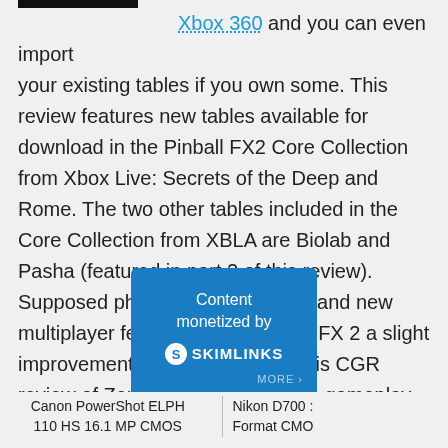Xbox 360 and you can even import your existing tables if you own some. This review features new tables available for download in the Pinball FX2 Core Collection from Xbox Live: Secrets of the Deep and Rome. The two other tables included in the Core Collection from XBLA are Biolab and Pasha (featured in part 2 of this review). Supposed physics improvements and new multiplayer features make Pinball FX 2 a slight improvement over the original. This CGR review of Zen's PINBALL FX2 has gameplay from Pinball FX 2 on Xbox 360 showing a video review of gameplay in HD.
[Figure (other): Skimlinks content monetization badge — blue square with text 'Content monetized by SKIMLINKS' and a MORE link]
Canon PowerShot ELPH 110 HS 16.1 MP CMOS
Nikon D700 : Format CMO